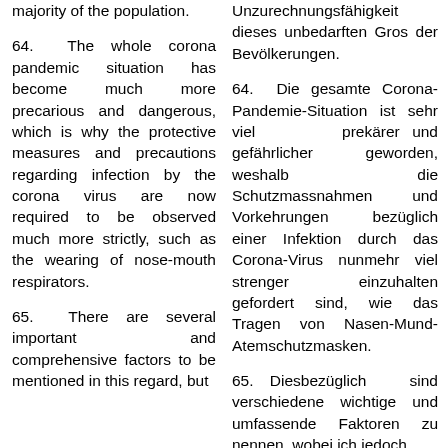majority of the population.
Unzurechnungsfähigkeit dieses unbedarften Gros der Bevölkerungen.
64. The whole corona pandemic situation has become much more precarious and dangerous, which is why the protective measures and precautions regarding infection by the corona virus are now required to be observed much more strictly, such as the wearing of nose-mouth respirators.
64. Die gesamte Corona-Pandemie-Situation ist sehr viel prekärer und gefährlicher geworden, weshalb die Schutzmassnahmen und Vorkehrungen bezüglich einer Infektion durch das Corona-Virus nunmehr viel strenger einzuhalten gefordert sind, wie das Tragen von Nasen-Mund-Atemschutzmasken.
65. There are several important and comprehensive factors to be mentioned in this regard, but
65. Diesbezüglich sind verschiedene wichtige und umfassende Faktoren zu nennen, wobei ich jedoch